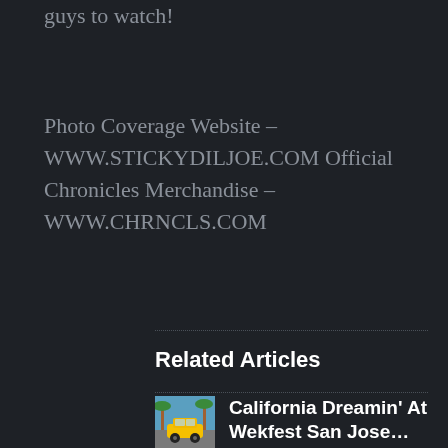guys to watch!
Photo Coverage Website – WWW.STICKYDILJOE.COM
Official Chronicles Merchandise – WWW.CHRNCLS.COM
Related Articles
[Figure (photo): Small thumbnail image showing a yellow car with palm trees, related to California Dreamin' At Wekfest San Jose article]
California Dreamin' At Wekfest San Jose…
2 WEEKS AGO